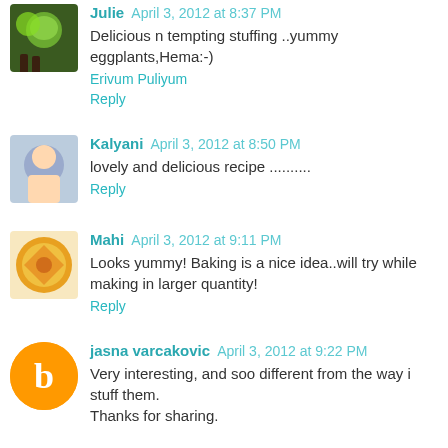Julie April 3, 2012 at 8:37 PM
Delicious n tempting stuffing ..yummy eggplants,Hema:-)
Erivum Puliyum
Reply
Kalyani April 3, 2012 at 8:50 PM
lovely and delicious recipe ..........
Reply
Mahi April 3, 2012 at 9:11 PM
Looks yummy! Baking is a nice idea..will try while making in larger quantity!
Reply
jasna varcakovic April 3, 2012 at 9:22 PM
Very interesting, and soo different from the way i stuff them. Thanks for sharing.